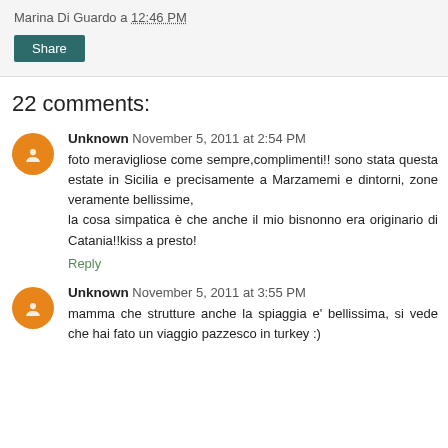Marina Di Guardo a 12:46 PM
Share
22 comments:
Unknown November 5, 2011 at 2:54 PM
foto meravigliose come sempre,complimenti!! sono stata questa estate in Sicilia e precisamente a Marzamemi e dintorni, zone veramente bellissime, la cosa simpatica è che anche il mio bisnonno era originario di Catania!!kiss a presto!
Reply
Unknown November 5, 2011 at 3:55 PM
mamma che strutture anche la spiaggia e' bellissima, si vede che hai fato un viaggio pazzesco in turkey :)